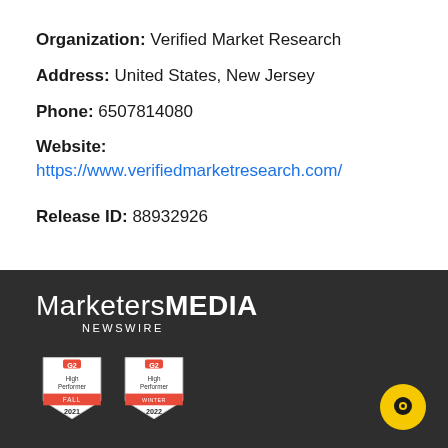Organization: Verified Market Research
Address: United States, New Jersey
Phone: 6507814080
Website: https://www.verifiedmarketresearch.com/
Release ID: 88932926
[Figure (logo): MarketersMEDIA Newswire logo in white text on dark background, with two G2 High Performer badges (Fall 2021 and Winter 2022) and a yellow chat button icon]